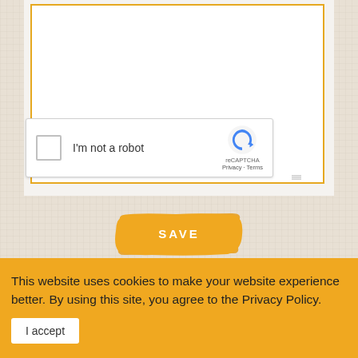[Figure (screenshot): Textarea input box with orange border on a linen-textured background, partially visible at top of page]
[Figure (screenshot): reCAPTCHA widget with checkbox, 'I'm not a robot' text, and reCAPTCHA logo with Privacy and Terms links]
[Figure (screenshot): SAVE button with brushstroke orange background]
This website uses cookies to make your website experience better. By using this site, you agree to the Privacy Policy.
I accept